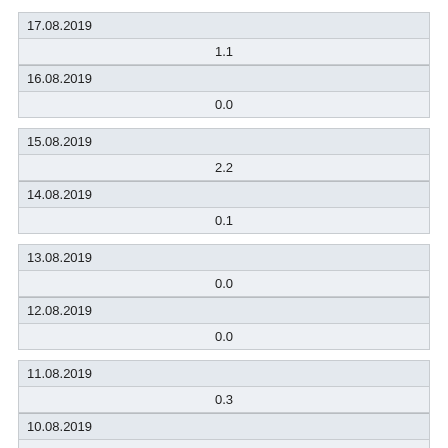| 17.08.2019 |  |
| --- | --- |
|  | 1.1 |
| 16.08.2019 |  |
|  | 0.0 |
| 15.08.2019 |  |
| --- | --- |
|  | 2.2 |
| 14.08.2019 |  |
|  | 0.1 |
| 13.08.2019 |  |
| --- | --- |
|  | 0.0 |
| 12.08.2019 |  |
|  | 0.0 |
| 11.08.2019 |  |
| --- | --- |
|  | 0.3 |
| 10.08.2019 |  |
|  | 0.0 |